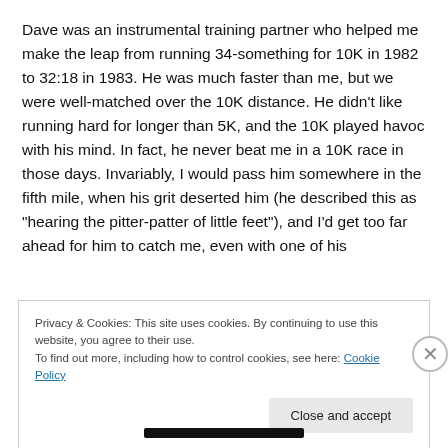Dave was an instrumental training partner who helped me make the leap from running 34-something for 10K in 1982 to 32:18 in 1983. He was much faster than me, but we were well-matched over the 10K distance. He didn't like running hard for longer than 5K, and the 10K played havoc with his mind. In fact, he never beat me in a 10K race in those days. Invariably, I would pass him somewhere in the fifth mile, when his grit deserted him (he described this as “hearing the pitter-patter of little feet”), and I’d get too far ahead for him to catch me, even with one of his
Privacy & Cookies: This site uses cookies. By continuing to use this website, you agree to their use.
To find out more, including how to control cookies, see here: Cookie Policy
Close and accept